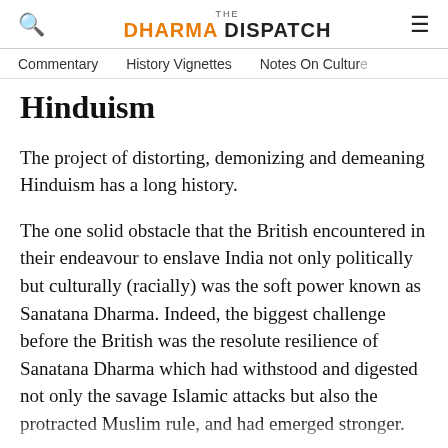THE DHARMA DISPATCH
Commentary   History Vignettes   Notes On Culture
Hinduism
The project of distorting, demonizing and demeaning Hinduism has a long history.
The one solid obstacle that the British encountered in their endeavour to enslave India not only politically but culturally (racially) was the soft power known as Sanatana Dharma. Indeed, the biggest challenge before the British was the resolute resilience of Sanatana Dharma which had withstood and digested not only the savage Islamic attacks but also the protracted Muslim rule, and had emerged stronger.